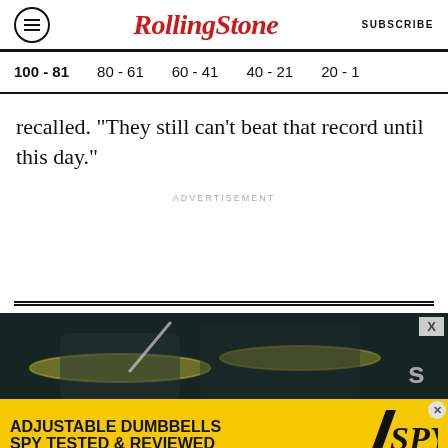RollingStone | SUBSCRIBE
100 - 81
80 - 61
60 - 41
40 - 21
20 - 1
recalled. "They still can't beat that record until this day."
ADVERTISEMENT
[Figure (photo): Dark concert/drumming photo showing cymbals and drummer in low light]
[Figure (infographic): Advertisement banner: ADJUSTABLE DUMBBELLS SPY TESTED & REVIEWED with yellow background and SPY logo]